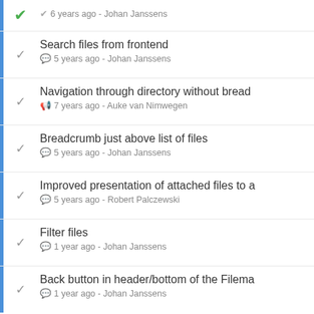6 years ago - Johan Janssens
Search files from frontend
5 years ago - Johan Janssens
Navigation through directory without bread
7 years ago - Auke van Nimwegen
Breadcrumb just above list of files
5 years ago - Johan Janssens
Improved presentation of attached files to a
5 years ago - Robert Palczewski
Filter files
1 year ago - Johan Janssens
Back button in header/bottom of the Filema
1 year ago - Johan Janssens